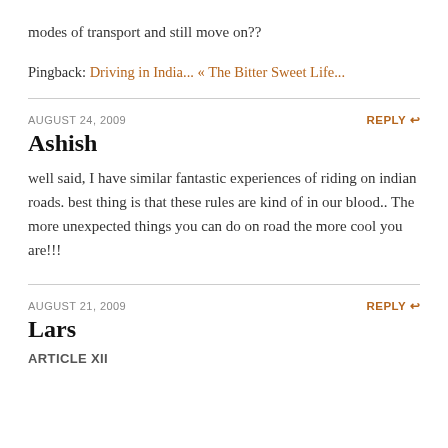modes of transport and still move on??
Pingback: Driving in India... « The Bitter Sweet Life...
AUGUST 24, 2009
REPLY
Ashish
well said, I have similar fantastic experiences of riding on indian roads. best thing is that these rules are kind of in our blood.. The more unexpected things you can do on road the more cool you are!!!
AUGUST 21, 2009
REPLY
Lars
ARTICLE XII